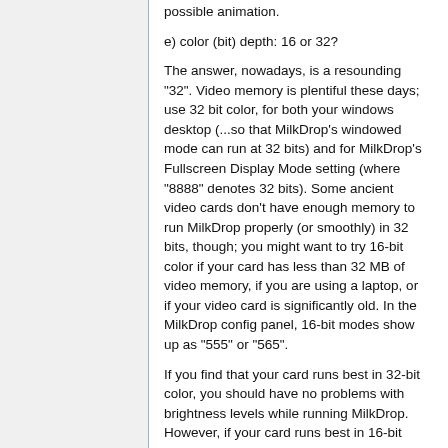possible animation.
e) color (bit) depth: 16 or 32?
The answer, nowadays, is a resounding "32". Video memory is plentiful these days; use 32 bit color, for both your windows desktop (...so that MilkDrop's windowed mode can run at 32 bits) and for MilkDrop's Fullscreen Display Mode setting (where "8888" denotes 32 bits). Some ancient video cards don't have enough memory to run MilkDrop properly (or smoothly) in 32 bits, though; you might want to try 16-bit color if your card has less than 32 MB of video memory, if you are using a laptop, or if your video card is significantly old. In the MilkDrop config panel, 16-bit modes show up as "555" or "565".
If you find that your card runs best in 32-bit color, you should have no problems with brightness levels while running MilkDrop. However, if your card runs best in 16-bit color, you should then adjust the